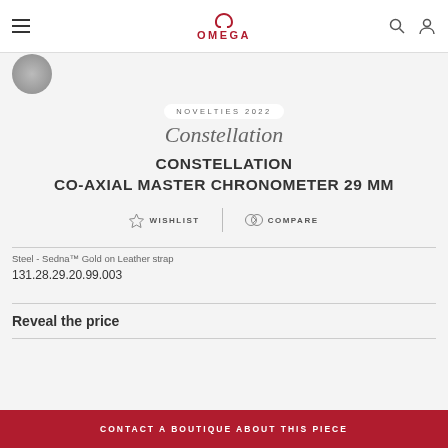OMEGA
NOVELTIES 2022
Constellation
CONSTELLATION CO-AXIAL MASTER CHRONOMETER 29 MM
WISHLIST   COMPARE
Steel - Sedna™ Gold on Leather strap
131.28.29.20.99.003
Reveal the price
CONTACT A BOUTIQUE ABOUT THIS PIECE